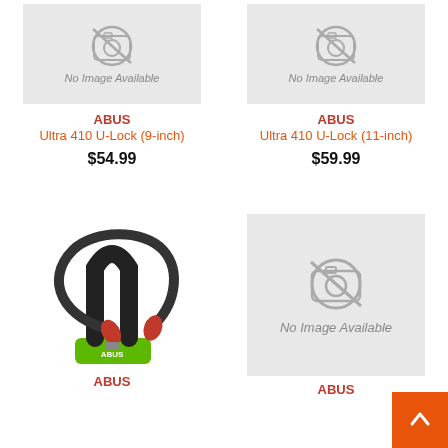[Figure (photo): No Image Available placeholder for ABUS Ultra 410 U-Lock 9-inch]
ABUS
Ultra 410 U-Lock (9-inch)
$54.99
[Figure (photo): No Image Available placeholder for ABUS Ultra 410 U-Lock 11-inch]
ABUS
Ultra 410 U-Lock (11-inch)
$59.99
[Figure (photo): Photo of ABUS U-Lock with cable, green base, red accents]
ABUS
[Figure (photo): No Image Available placeholder for ABUS product]
ABUS